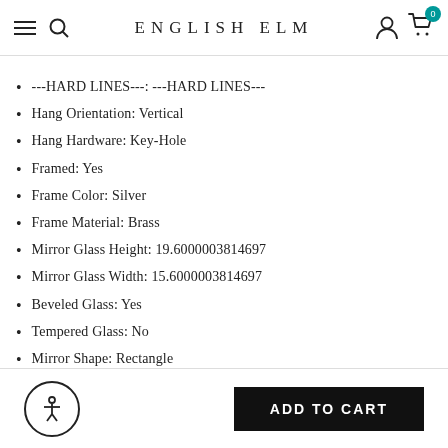ENGLISH ELM
---HARD LINES---: ---HARD LINES---
Hang Orientation: Vertical
Hang Hardware: Key-Hole
Framed: Yes
Frame Color: Silver
Frame Material: Brass
Mirror Glass Height: 19.6000003814697
Mirror Glass Width: 15.6000003814697
Beveled Glass: Yes
Tempered Glass: No
Mirror Shape: Rectangle
Is Lid Included: No
Is Plant Safe?: No
Is Lead Free?: No
Is Dishwasher Safe?: No
ADD TO CART